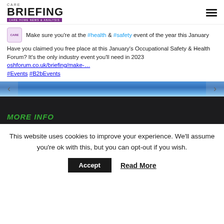Care Briefing - Care Home News & Analysis
Make sure you're at the #health & #safety event of the year this January
Have you claimed you free place at this January's Occupational Safety & Health Forum? It's the only industry event you'll need in 2023 oshforum.co.uk/briefing/make-… #Events #B2bEvents
MORE INFO
This website uses cookies to improve your experience. We'll assume you're ok with this, but you can opt-out if you wish.
Accept  Read More